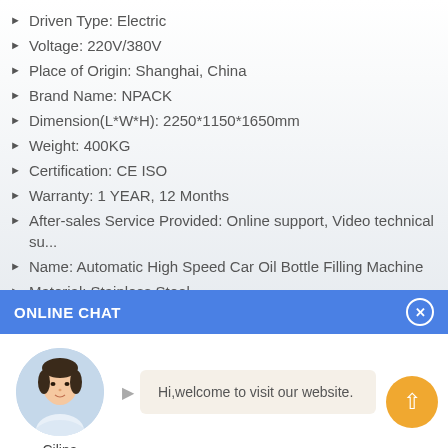Driven Type: Electric
Voltage: 220V/380V
Place of Origin: Shanghai, China
Brand Name: NPACK
Dimension(L*W*H): 2250*1150*1650mm
Weight: 400KG
Certification: CE ISO
Warranty: 1 YEAR, 12 Months
After-sales Service Provided: Online support, Video technical su...
Name: Automatic High Speed Car Oil Bottle Filling Machine
Material: Stainless Steel
Capacity: 2000-4000 Bottles /h
Bottle type: Plastic Bottle,Glass Bottles
ONLINE CHAT
[Figure (photo): Avatar photo of a woman named Cilina, customer service agent]
Hi,welcome to visit our website.